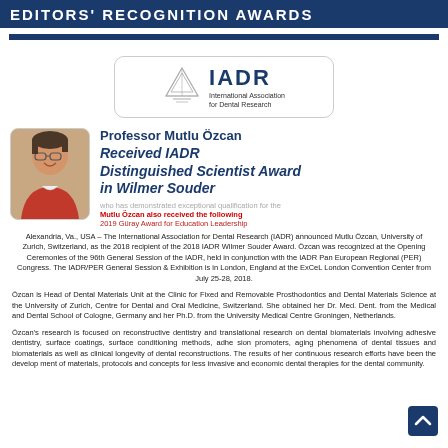EDITORS' RECOGNITION AWARDS
[Figure (logo): IADR International Association for Dental Research logo with diamond/triangle icon]
Professor Mutlu Özcan
Received IADR Distinguished Scientist Award in Wilmer Souder
Alexandria, Va., USA – The International Association for Dental Research (IADR) announced Mutlu Özcan, University of Zurich, Switzerland, as the 2018 recipient of the 2018 IADR Wilmer Souder Award. Özcan was recognized at the Opening Ceremonies of the 96th General Session of the IADR, held in conjunction with the IADR Pan European Regional (PER) Congress. The IADR/PER General Session & Exhibition is in London, England at the ExCeL London Convention Center from July 25-28, 2018.
Özcan is Head of Dental Materials Unit at the Clinic for Fixed and Removable Prosthodontics and Dental Materials Science at the University of Zurich, Centre for Dental and Oral Medicine, Switzerland. She obtained her Dr. Med. Dent. from the Medical and Dental School of Cologne, Germany and her Ph.D. from the University Medical Centre Groningen, Netherlands.
Özcan's research is focused on reconstructive dentistry and translational research on dental biomaterials involving adhesive dentistry, surface coatings, surface conditioning methods, adhesion promoters, aging phenomena of dental tissues and biomaterials as well as clinical longevity of dental reconstructions. The results of her continuous research efforts have been the development of materials, protocols and concepts for less invasive and economic dental therapies for the dental community.